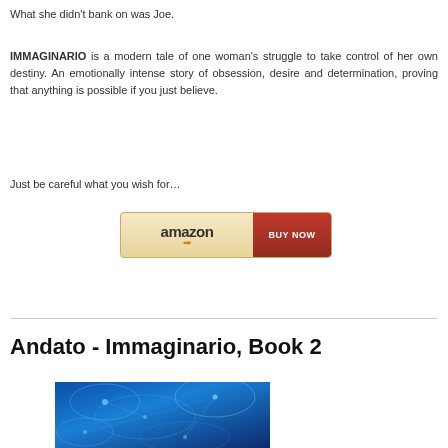What she didn't bank on was Joe.
IMMAGINARIO is a modern tale of one woman's struggle to take control of her own destiny. An emotionally intense story of obsession, desire and determination, proving that anything is possible if you just believe.
Just be careful what you wish for…
[Figure (other): Amazon Buy Now button with orange Amazon logo and red BUY NOW button]
Andato - Immaginario, Book 2
[Figure (photo): Blue book cover image partially visible at bottom of page]